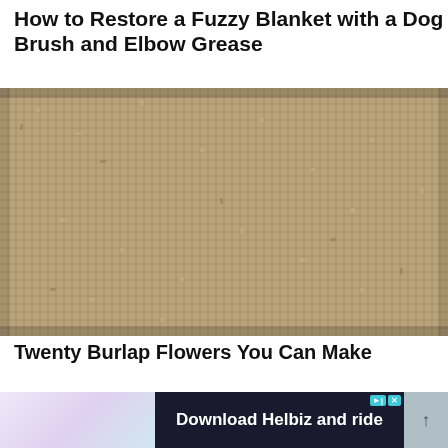How to Restore a Fuzzy Blanket with a Dog Brush and Elbow Grease
[Figure (photo): Close-up photograph of woven burlap fabric texture, showing the interlaced coarse fibers in a tan/khaki color.]
Twenty Burlap Flowers You Can Make
[Figure (other): Advertisement banner reading 'Download Helbiz and ride' with a scooter image, blue/teal controls marked D|X, and a dark background. Left side shows a pastel decorative background, right side shows a scroll-up arrow.]